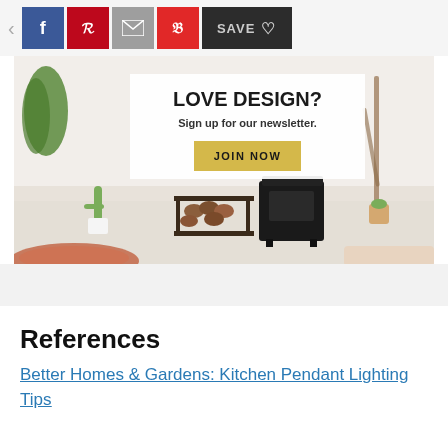< f p [mail] [flipboard] SAVE ♡
[Figure (infographic): Advertisement banner for a design newsletter. Shows a living room scene with plants, firewood rack, and black wood stove. Overlaid white box with text: LOVE DESIGN? Sign up for our newsletter. JOIN NOW button in gold/yellow.]
References
Better Homes & Gardens: Kitchen Pendant Lighting Tips